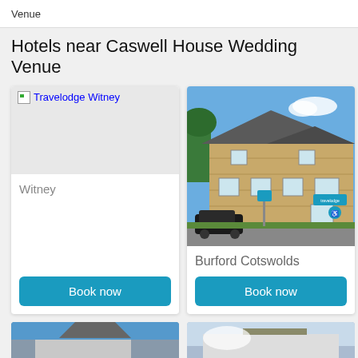Venue
Hotels near Caswell House Wedding Venue
[Figure (screenshot): Hotel card for Travelodge Witney with image placeholder, location 'Witney', and blue 'Book now' button]
[Figure (photo): Photo of a stone-built Travelodge hotel in Burford Cotswolds with a car park, with location 'Burford Cotswolds' and blue 'Book now' button]
[Figure (photo): Partial photo of another hotel building (bottom left)]
[Figure (photo): Partial photo of another hotel (bottom right)]